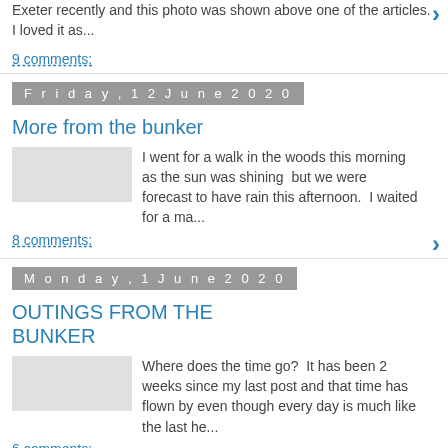Exeter recently and this photo was shown above one of the articles.  I loved it as...
9 comments:
Friday, 12 June 2020
More from the bunker
I went for a walk in the woods this morning as the sun was shining  but we were forecast to have rain this afternoon.  I waited for a ma...
8 comments:
Monday, 1 June 2020
OUTINGS FROM THE BUNKER
Where does the time go?  It has been 2 weeks since my last post and that time has flown by even though every day is much like the last he...
6 comments:
Sunday, 17 May 2020
MORE TALES FROM THE